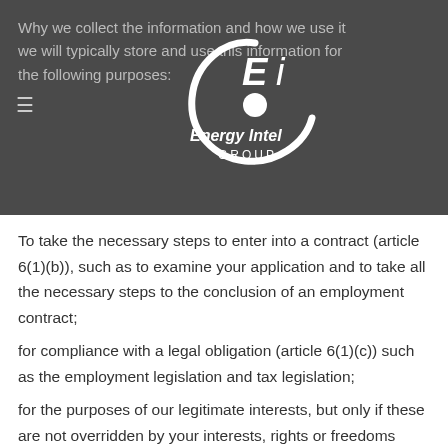Why we collect the information and how we use it — We will typically store and use this information for the following purposes:
[Figure (logo): Energy Intel Group logo — white stylized 'Ei' monogram with 'Energy Intel GROUP' text]
To take the necessary steps to enter into a contract (article 6(1)(b)), such as to examine your application and to take all the necessary steps to the conclusion of an employment contract;
for compliance with a legal obligation (article 6(1)(c)) such as the employment legislation and tax legislation;
for the purposes of our legitimate interests, but only if these are not overridden by your interests, rights or freedoms (article 6(1)(f)), such as: (i) in the course of operation and safety of the information technology (IT) department of the Company; (ii) in the course of implementing a closed-circuit monitoring system(CCTV)